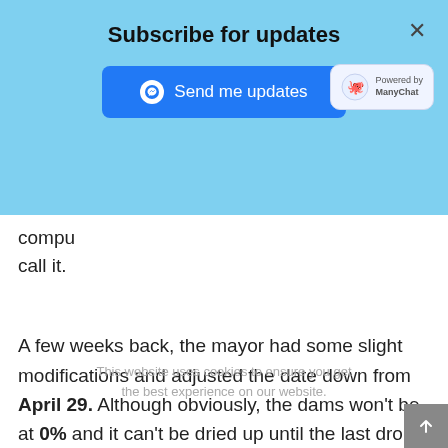Subscribe for updates
[Figure (screenshot): Blue messenger subscribe banner with 'Send me updates' button and ManyChat badge]
compu they call it.
A few weeks back, the mayor had some slight modifications and adjusted the date down from April 29. Although obviously, the dams won't be at 0% and it can't be dried up until the last drop but when these reservoirs reach 13.5% capacity, municipal water supply will be cut out except for essential services like hospitals; this is as per the city authorities' command.